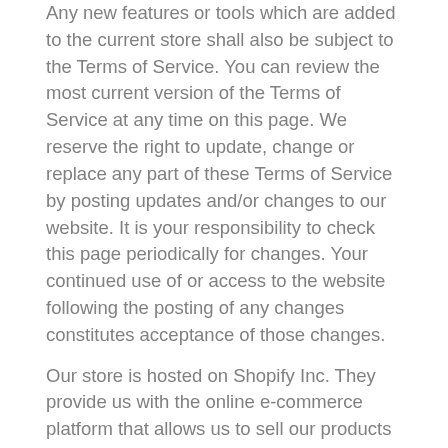Any new features or tools which are added to the current store shall also be subject to the Terms of Service. You can review the most current version of the Terms of Service at any time on this page. We reserve the right to update, change or replace any part of these Terms of Service by posting updates and/or changes to our website. It is your responsibility to check this page periodically for changes. Your continued use of or access to the website following the posting of any changes constitutes acceptance of those changes.
Our store is hosted on Shopify Inc. They provide us with the online e-commerce platform that allows us to sell our products and services to you.
SECTION 1 - ONLINE STORE TERMS
By agreeing to these Terms of Service, you represent that you are at least the age of majority in your state or province of residence, or that you are the age of majority...